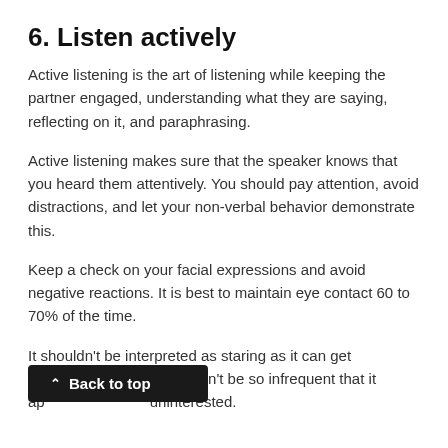6. Listen actively
Active listening is the art of listening while keeping the partner engaged, understanding what they are saying, reflecting on it, and paraphrasing.
Active listening makes sure that the speaker knows that you heard them attentively. You should pay attention, avoid distractions, and let your non-verbal behavior demonstrate this.
Keep a check on your facial expressions and avoid negative reactions. It is best to maintain eye contact 60 to 70% of the time.
It shouldn't be interpreted as staring as it can get overwhelming, and it shouldn't be so infrequent that it appears like you are uninterested.